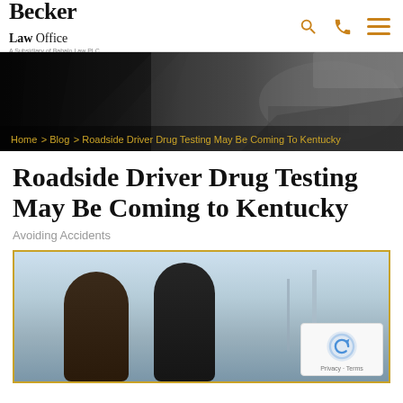Becker Law Office — A Subsidiary of Babalo Law PLC
[Figure (photo): Hero banner showing a car crash scene on the right side with dark/dark triangular geometric pattern on the left. Breadcrumb navigation overlaid at the bottom.]
Home > Blog > Roadside Driver Drug Testing May Be Coming To Kentucky
Roadside Driver Drug Testing May Be Coming to Kentucky
Avoiding Accidents
[Figure (photo): Photo showing two people from behind standing outdoors, likely at a roadside stop. Blue sky visible in background. reCAPTCHA badge visible in bottom-right corner.]